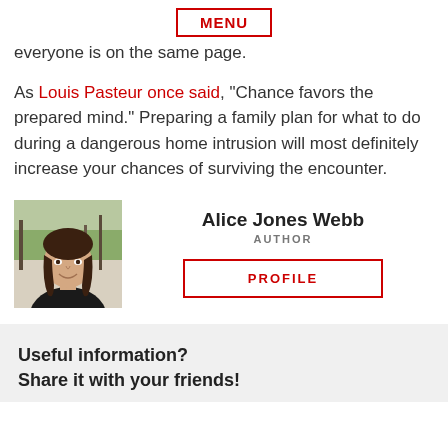MENU
everyone is on the same page.
As Louis Pasteur once said, “Chance favors the prepared mind.” Preparing a family plan for what to do during a dangerous home intrusion will most definitely increase your chances of surviving the encounter.
[Figure (photo): Headshot of Alice Jones Webb, a woman with long dark hair, smiling, outdoors with trees in background.]
Alice Jones Webb
AUTHOR
PROFILE
Useful information?
Share it with your friends!